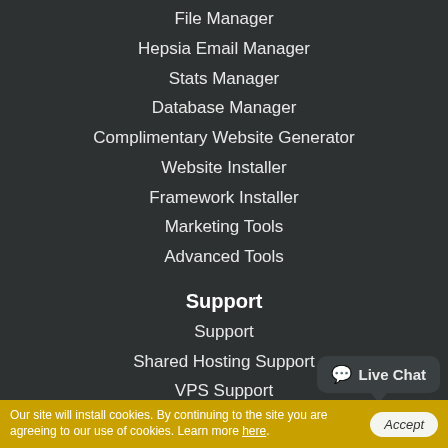File Manager
Hepsia Email Manager
Stats Manager
Database Manager
Complimentary Website Generator
Website Installer
Framework Installer
Marketing Tools
Advanced Tools
Support
Support
Shared Hosting Support
VPS Support
Semi-dedicated Hosting Support
Dedicated Hosting Support
Dedicated Administration Services
Our site will install cookies. By continuing to the site you are agreeing to our use of cookies. Learn more here.